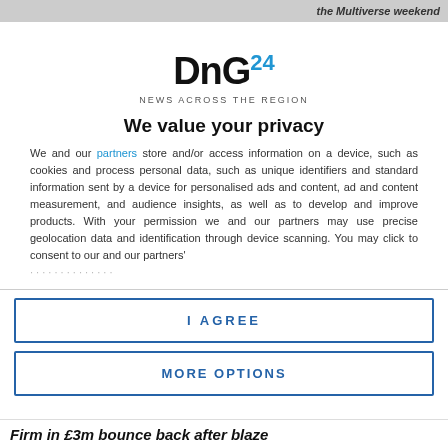the Multiverse weekend
[Figure (logo): DnG24 - NEWS ACROSS THE REGION logo]
We value your privacy
We and our partners store and/or access information on a device, such as cookies and process personal data, such as unique identifiers and standard information sent by a device for personalised ads and content, ad and content measurement, and audience insights, as well as to develop and improve products. With your permission we and our partners may use precise geolocation data and identification through device scanning. You may click to consent to our and our partners'
I AGREE
MORE OPTIONS
Firm in £3m bounce back after blaze